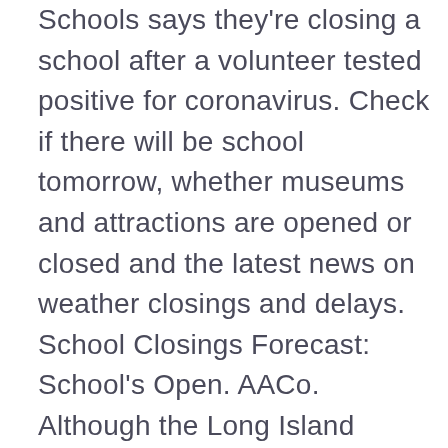Schools says they're closing a school after a volunteer tested positive for coronavirus. Check if there will be school tomorrow, whether museums and attractions are opened or closed and the latest news on weather closings and delays. School Closings Forecast: School's Open. AACo. Although the Long Island School and other educational information on this site is believed to be correct, the information is provided on an "As Is" basis, and accuracy and/or completeness cannot be guaranteed. William and Mary will be clos, all events and classes are canceled. © 2020 Advance Local Media LLC. Hometown Stories Podcasts. School Closings and Delays Announcements for area schools. Lima City Schools preparing for 2nd half of school year amid pandemic's continuation Van Wert Health physician clears up misinformation of COVID-19 vaccine Allen County public